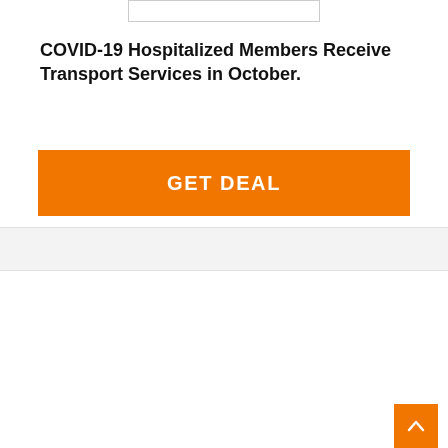[Figure (other): Text input field at top of card]
COVID-19 Hospitalized Members Receive Transport Services in October.
GET DEAL
COUPON VERIFIED
22 USED TODAY
[Figure (other): SALE promotional badge in orange text on white background]